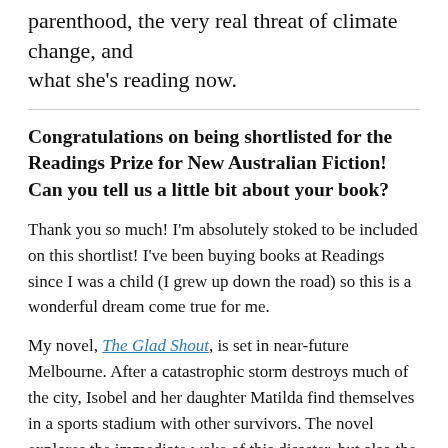parenthood, the very real threat of climate change, and what she's reading now.
Congratulations on being shortlisted for the Readings Prize for New Australian Fiction! Can you tell us a little bit about your book?
Thank you so much! I'm absolutely stoked to be included on this shortlist! I've been buying books at Readings since I was a child (I grew up down the road) so this is a wonderful dream come true for me.
My novel, The Glad Shout, is set in near-future Melbourne. After a catastrophic storm destroys much of the city, Isobel and her daughter Matilda find themselves in a sports stadium with other survivors. The novel explores the immediate wake of this disaster, but also the slow unfolding of ecological and political collapse across Isobel's lifetime. That description makes the book sound quite speculative, and it is on one level. But it is also a story about family. Specifically, intergenerational